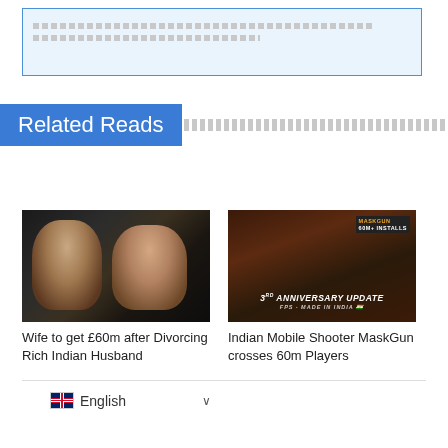[Figure (screenshot): Advertisement or widget box with dotted/dashed lines placeholder content]
Related Reads
[Figure (photo): Photo of a couple at a formal event - man in tuxedo and woman with dark hair]
Wife to get £60m after Divorcing Rich Indian Husband
[Figure (screenshot): MaskGun mobile game screenshot showing characters and '3rd Anniversary Update' text, FPS - Made in India]
Indian Mobile Shooter MaskGun crosses 60m Players
English